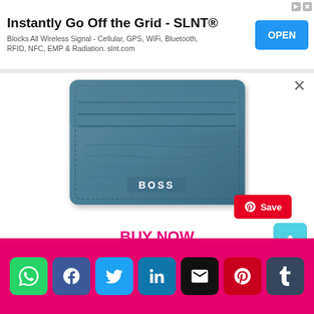[Figure (screenshot): Advertisement banner: 'Instantly Go Off the Grid - SLNT®' with subtitle 'Blocks All Wireless Signal - Cellular, GPS, WiFi, Bluetooth, RFID, NFC, EMP & Radiation. slnt.com' and a blue OPEN button]
[Figure (photo): Blue leather BOSS card wallet/card holder with 'BOSS' logo embossed in silver on front, with multiple card slots visible at top]
BUY NOW
[Figure (infographic): Social media share buttons footer bar (pink background) with WhatsApp, Facebook, Twitter, LinkedIn, Email, Pinterest, Tumblr icons]